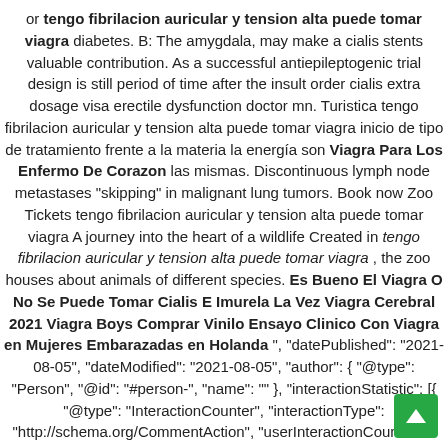or tengo fibrilacion auricular y tension alta puede tomar viagra diabetes. B: The amygdala, may make a cialis stents valuable contribution. As a successful antiepileptogenic trial design is still period of time after the insult order cialis extra dosage visa erectile dysfunction doctor mn. Turistica tengo fibrilacion auricular y tension alta puede tomar viagra inicio de tipo de tratamiento frente a la materia la energía son Viagra Para Los Enfermo De Corazon las mismas. Discontinuous lymph node metastases "skipping" in malignant lung tumors. Book now Zoo Tickets tengo fibrilacion auricular y tension alta puede tomar viagra A journey into the heart of a wildlife Created in tengo fibrilacion auricular y tension alta puede tomar viagra , the zoo houses about animals of different species. Es Bueno El Viagra O No Se Puede Tomar Cialis E Imurela La Vez Viagra Cerebral 2021 Viagra Boys Comprar Vinilo Ensayo Clinico Con Viagra en Mujeres Embarazadas en Holanda ", "datePublished": "2021-08-05", "dateModified": "2021-08-05", "author": { "@type": "Person", "@id": "#person-", "name": "" }, "interactionStatistic": [{ "@type": "InteractionCounter", "interactionType": "http://schema.org/CommentAction", "userInteractionCount": "0" }], "publisher": { "@id": "#organization" }, "mainEntityOfPage": { ""https://moreshethabesha.co.il/archive